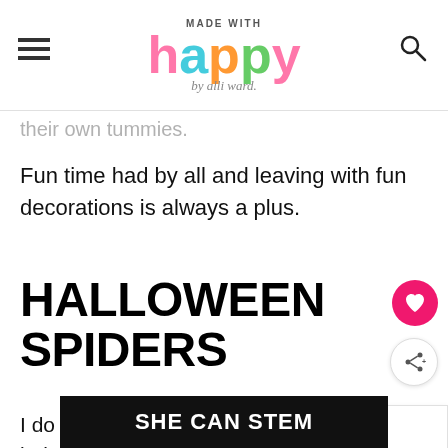MADE WITH happy by alli ward.
their own tummies.
Fun time had by all and leaving with fun decorations is always a plus.
HALLOWEEN SPIDERS
I do not know how spiders en... being part of the Halloween decor,
[Figure (other): What's Next widget showing Cinnamon Roll Waffles with... thumbnail]
[Figure (other): SHE CAN STEM advertisement banner at the bottom of the page]